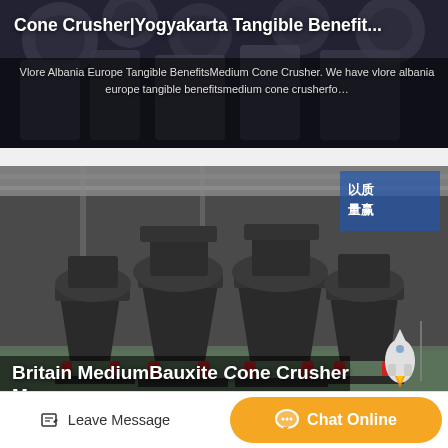[Figure (photo): Industrial cone crushers machines in a factory setting — dark gray heavy equipment against a large factory floor background, with text overlay]
Cone Crusher|Yogyakarta Tangible Benefit...
Vlore Albania Europe Tangible BenefitsMedium Cone Crusher. We have vlore albania europe tangible benefitsmedium cone crusherfo…
[Figure (photo): Multiple large black cone crusher machines lined up in an industrial factory/warehouse, with Chinese signage visible in background]
Britain MediumBauxite Cone Crusher Ma...
Leave Message
Chat Online